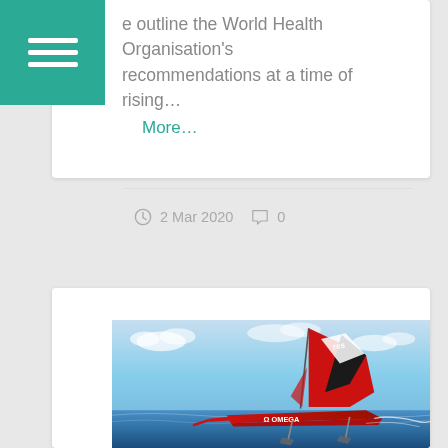[Figure (logo): Green teal menu hamburger icon with three white horizontal bars on a teal/green background square]
e outline the World Health Organisation's recommendations at a time of rising...
More…
2 Mar 2020  0
[Figure (photo): A red racing sailboat with a large red and black wing sail marked with 'OMEGA' branding on the hull, hydrofoiling over blue ocean water against a partly cloudy sky. The boat appears to be an America's Cup class vessel.]